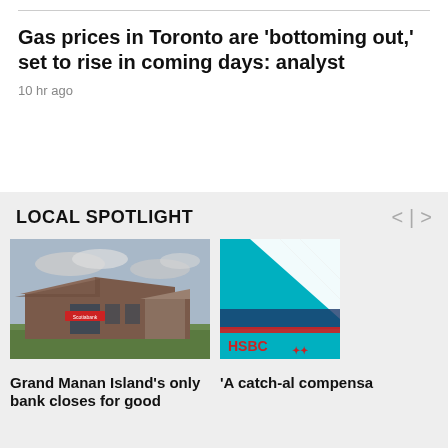Gas prices in Toronto are 'bottoming out,' set to rise in coming days: analyst
10 hr ago
LOCAL SPOTLIGHT
[Figure (photo): Photo of a Scotiabank branch building with brick exterior and flat/angled roof, green lawn in front, cloudy sky]
[Figure (photo): Photo of an HSBC building or ship with teal/turquoise and white colors, HSBC logo visible]
Grand Manan Island's only bank closes for good
'A catch-al compensa